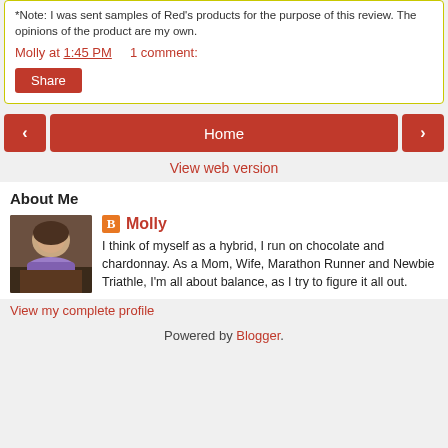*Note: I was sent samples of Red's products for the purpose of this review. The opinions of the product are my own.
Molly at 1:45 PM    1 comment:
Share
Home
View web version
About Me
[Figure (photo): Photo of Molly, a woman in a purple shirt standing indoors]
Molly
I think of myself as a hybrid, I run on chocolate and chardonnay. As a Mom, Wife, Marathon Runner and Newbie Triathle, I'm all about balance, as I try to figure it all out.
View my complete profile
Powered by Blogger.